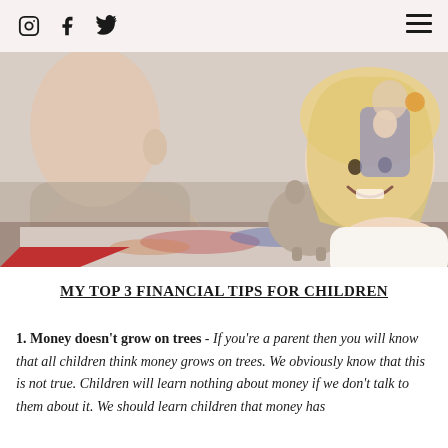Social media icons and hamburger menu
[Figure (photo): Two young children (a baby and a toddler girl) lying at a table with a clay piggy bank, painted paper on the table, and toy figures in the background.]
MY TOP 3 FINANCIAL TIPS FOR CHILDREN
1. Money doesn't grow on trees - If you're a parent then you will know that all children think money grows on trees. We obviously know that this is not true. Children will learn nothing about money if we don't talk to them about it. We should learn children that money has...